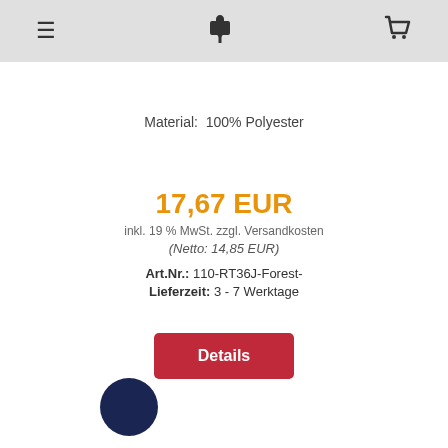≡  👤↓  🛒
Material:  100% Polyester
17,67 EUR
inkl. 19 % MwSt. zzgl. Versandkosten
(Netto: 14,85 EUR)
Art.Nr.: 110-RT36J-Forest-
Lieferzeit: 3 - 7 Werktage
Details
[Figure (illustration): Dark navy blue filled circle representing a color swatch]